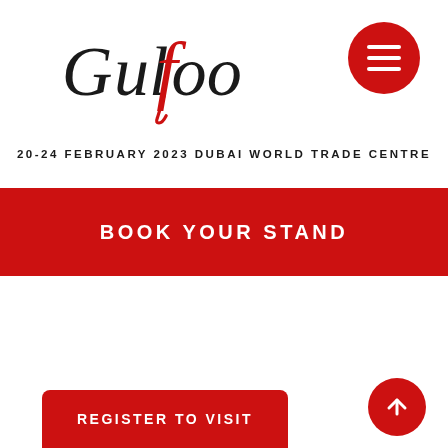[Figure (logo): Gulfood logo in black serif italic script with red stylized 'f' accent]
[Figure (other): Red circular hamburger menu button with three white horizontal lines]
20-24 FEBRUARY 2023 DUBAI WORLD TRADE CENTRE
BOOK YOUR STAND
REGISTER TO VISIT
[Figure (other): Red circular scroll-to-top button with white upward arrow]